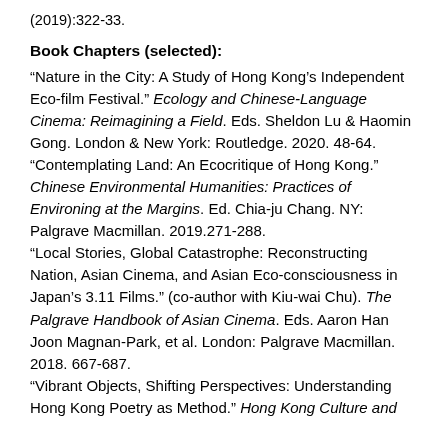(2019):322-33.
Book Chapters (selected):
“Nature in the City: A Study of Hong Kong’s Independent Eco-film Festival.” Ecology and Chinese-Language Cinema: Reimagining a Field. Eds. Sheldon Lu & Haomin Gong. London & New York: Routledge. 2020. 48-64. “Contemplating Land: An Ecocritique of Hong Kong.” Chinese Environmental Humanities: Practices of Environing at the Margins. Ed. Chia-ju Chang. NY: Palgrave Macmillan. 2019.271-288. “Local Stories, Global Catastrophe: Reconstructing Nation, Asian Cinema, and Asian Eco-consciousness in Japan’s 3.11 Films.” (co-author with Kiu-wai Chu). The Palgrave Handbook of Asian Cinema. Eds. Aaron Han Joon Magnan-Park, et al. London: Palgrave Macmillan. 2018. 667-687. “Vibrant Objects, Shifting Perspectives: Understanding Hong Kong Poetry as Method.” Hong Kong Culture and